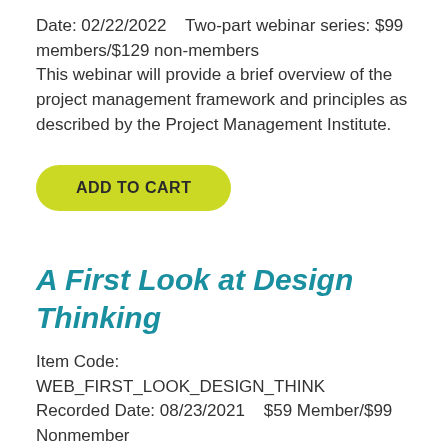Date: 02/22/2022    Two-part webinar series: $99 members/$129 non-members
This webinar will provide a brief overview of the project management framework and principles as described by the Project Management Institute.
ADD TO CART
A First Look at Design Thinking
Item Code: WEB_FIRST_LOOK_DESIGN_THINK
Recorded Date: 08/23/2021    $59 Member/$99 Nonmember
Have you wondered what exactly design thinking is, and how…
ADD TO CART